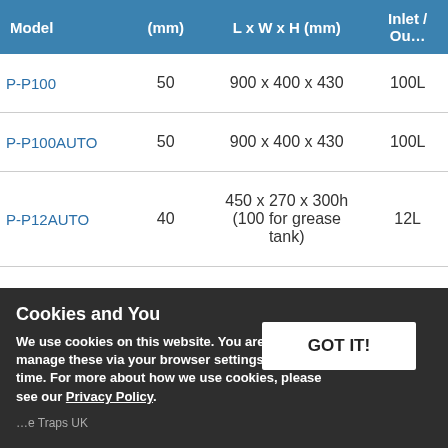| Model | (mm) | L x W x H (mm) | Inlet / Ou… |
| --- | --- | --- | --- |
| P-P100 | 50 | 900 x 400 x 430 | 100L |
| P-P100AUTO | 50 | 900 x 400 x 430 | 100L |
| P-P12AUTO | 40 | 450 x 270 x 300h
(100 for grease tank) | 12L |
Cookies and You
We use cookies on this website. You are free to manage these via your browser settings at any time. For more about how we use cookies, please see our Privacy Policy.